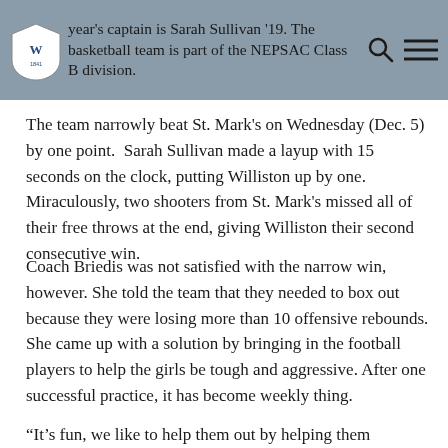who are both new to coaching girls varsity at Williston year's captain is Sarah Sullivan '19. The basketball team is part of the NEPSAC Class B division.
The team narrowly beat St. Mark's on Wednesday (Dec. 5) by one point.  Sarah Sullivan made a layup with 15 seconds on the clock, putting Williston up by one. Miraculously, two shooters from St. Mark's missed all of their free throws at the end, giving Williston their second consecutive win.
Coach Briedis was not satisfied with the narrow win, however. She told the team that they needed to box out because they were losing more than 10 offensive rebounds. She came up with a solution by bringing in the football players to help the girls be tough and aggressive. After one successful practice, it has become weekly thing.
“It’s fun, we like to help them out by helping them